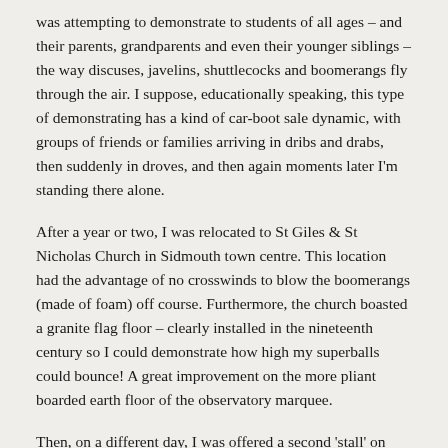was attempting to demonstrate to students of all ages – and their parents, grandparents and even their younger siblings – the way discuses, javelins, shuttlecocks and boomerangs fly through the air. I suppose, educationally speaking, this type of demonstrating has a kind of car-boot sale dynamic, with groups of friends or families arriving in dribs and drabs, then suddenly in droves, and then again moments later I'm standing there alone.
After a year or two, I was relocated to St Giles & St Nicholas Church in Sidmouth town centre. This location had the advantage of no crosswinds to blow the boomerangs (made of foam) off course. Furthermore, the church boasted a granite flag floor – clearly installed in the nineteenth century so I could demonstrate how high my superballs could bounce! A great improvement on the more pliant boarded earth floor of the observatory marquee.
Then, on a different day, I was offered a second 'stall' on 'The